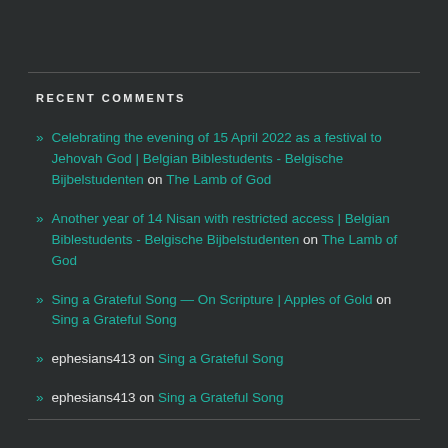RECENT COMMENTS
Celebrating the evening of 15 April 2022 as a festival to Jehovah God | Belgian Biblestudents - Belgische Bijbelstudenten on The Lamb of God
Another year of 14 Nisan with restricted access | Belgian Biblestudents - Belgische Bijbelstudenten on The Lamb of God
Sing a Grateful Song — On Scripture | Apples of Gold on Sing a Grateful Song
ephesians413 on Sing a Grateful Song
ephesians413 on Sing a Grateful Song